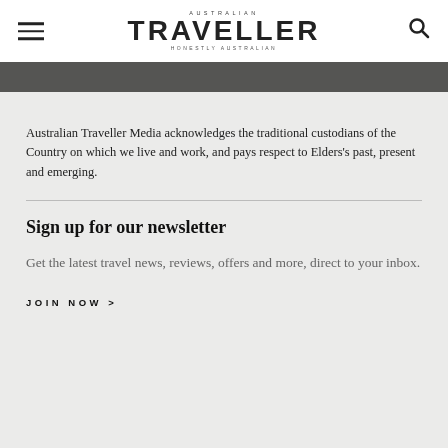AUSTRALIAN TRAVELLER — HONESTLY AUSTRALIAN
Australian Traveller Media acknowledges the traditional custodians of the Country on which we live and work, and pays respect to Elders's past, present and emerging.
Sign up for our newsletter
Get the latest travel news, reviews, offers and more, direct to your inbox.
JOIN NOW >